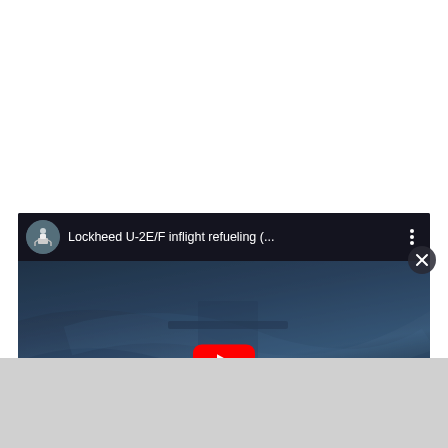[Figure (screenshot): YouTube video embed showing 'Lockheed U-2E/F inflight refueling (...' with a dark blue sky/cloud background image visible behind a red YouTube play button. The video thumbnail shows a circular channel icon (lunar lander/astronaut image) in the top bar. A three-dot menu icon appears top right. A close (X) button appears at bottom right of the video frame. Below the video is a light gray bar.]